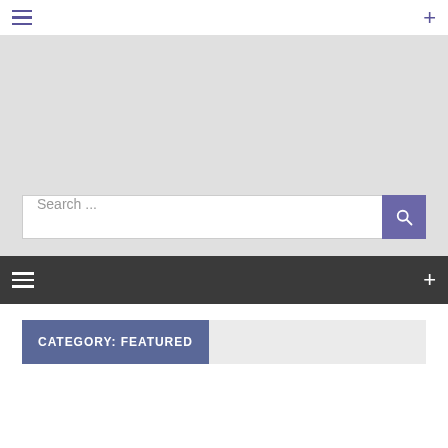☰  +
[Figure (screenshot): Gray placeholder area representing a banner or advertisement space]
Search ...
☰  +
CATEGORY: FEATURED